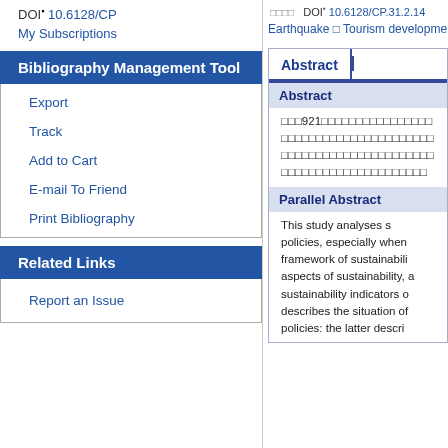DOI: 10.6128/CP
My Subscriptions
Bibliography Management Tool
Export
Track
Add to Cart
E-mail To Friend
Print Bibliography
Related Links
Report an Issue
DOI: 10.6128/CP.31.2.14
Earthquake • Tourism development
Abstract
Abstract
台灣921大地震後觀光發展政策之研究，尤其是永續發展的架構，包括永續發展的各面向，永續指標的建立，以描述現況，後者描述政策。
Parallel Abstract
This study analyses s policies, especially when framework of sustainabili aspects of sustainability, a sustainability indicators o describes the situation of policies: the latter descri